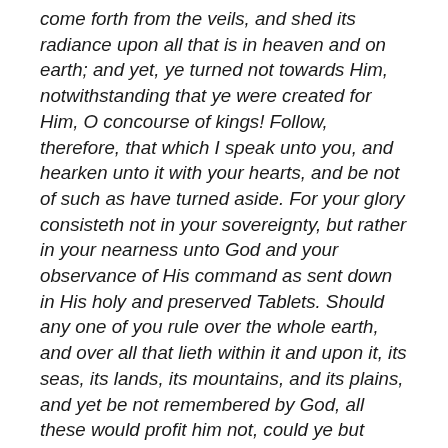come forth from the veils, and shed its radiance upon all that is in heaven and on earth; and yet, ye turned not towards Him, notwithstanding that ye were created for Him, O concourse of kings! Follow, therefore, that which I speak unto you, and hearken unto it with your hearts, and be not of such as have turned aside. For your glory consisteth not in your sovereignty, but rather in your nearness unto God and your observance of His command as sent down in His holy and preserved Tablets. Should any one of you rule over the whole earth, and over all that lieth within it and upon it, its seas, its lands, its mountains, and its plains, and yet be not remembered by God, all these would profit him not, could ye but know it.... Arise, then, and make steadfast your feet, and make ye amends for that which hath escaped you, and set then yourselves towards His holy Court, on the shore of His mighty Ocean, so that the pearls of knowledge and